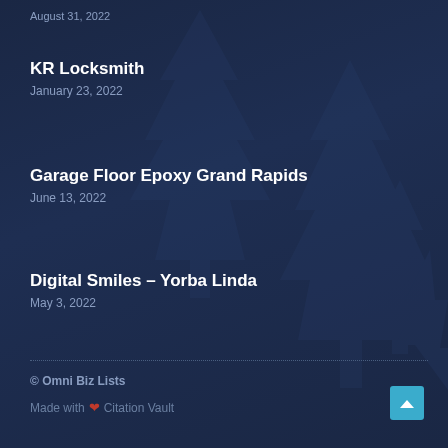KR Locksmith
January 23, 2022
Garage Floor Epoxy Grand Rapids
June 13, 2022
Digital Smiles – Yorba Linda
May 3, 2022
© Omni Biz Lists
Made with ❤ Citation Vault